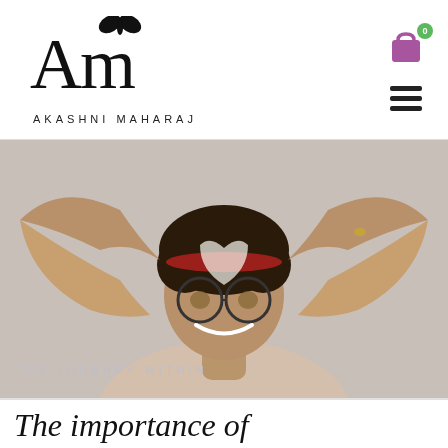AKASHNI MAHARAJ
[Figure (photo): Person making a heart shape with their hands in front of their face, wearing round glasses and a beige shirt, smiling]
THE JOURNEY WITHIN
The importance of